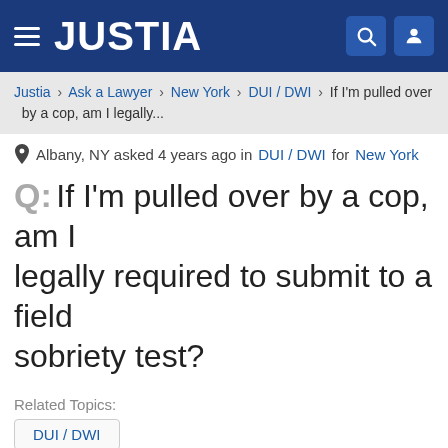JUSTIA
Justia › Ask a Lawyer › New York › DUI / DWI › If I'm pulled over by a cop, am I legally...
Albany, NY asked 4 years ago in DUI / DWI for New York
Q: If I'm pulled over by a cop, am I legally required to submit to a field sobriety test?
Related Topics:
DUI / DWI
2 Lawyer Answers